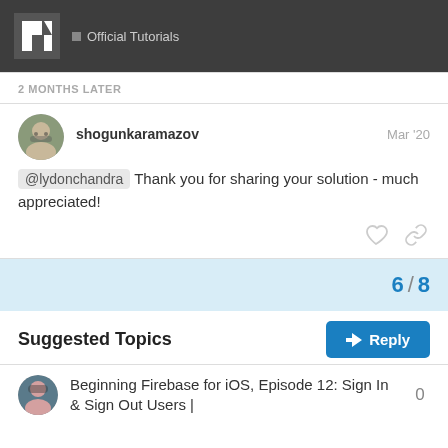Official Tutorials
2 MONTHS LATER
shogunkaramazov   Mar '20
@lydonchandra Thank you for sharing your solution - much appreciated!
6 / 8
Suggested Topics
Beginning Firebase for iOS, Episode 12: Sign In & Sign Out Users |
0